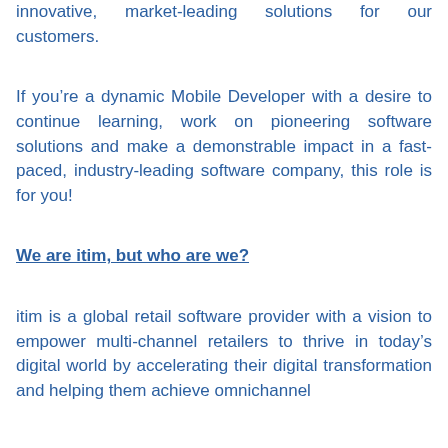innovative, market-leading solutions for our customers.
If you’re a dynamic Mobile Developer with a desire to continue learning, work on pioneering software solutions and make a demonstrable impact in a fast-paced, industry-leading software company, this role is for you!
We are itim, but who are we?
itim is a global retail software provider with a vision to empower multi-channel retailers to thrive in today’s digital world by accelerating their digital transformation and helping them achieve omnichannel